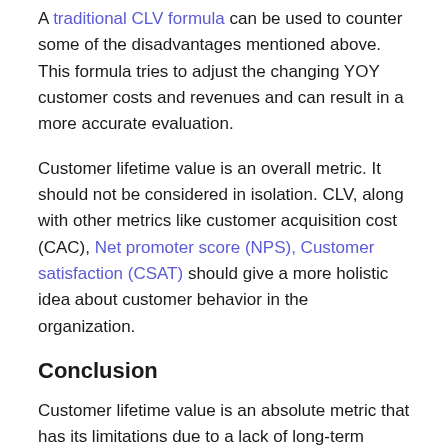A traditional CLV formula can be used to counter some of the disadvantages mentioned above. This formula tries to adjust the changing YOY customer costs and revenues and can result in a more accurate evaluation.
Customer lifetime value is an overall metric. It should not be considered in isolation. CLV, along with other metrics like customer acquisition cost (CAC), Net promoter score (NPS), Customer satisfaction (CSAT) should give a more holistic idea about customer behavior in the organization.
Conclusion
Customer lifetime value is an absolute metric that has its limitations due to a lack of long-term predictability. However, it is a great metric for a